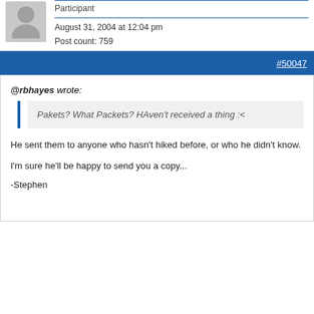Stephen
Participant
August 31, 2004 at 12:04 pm
Post count: 759
#50047
@rbhayes wrote:
Pakets? What Packets? HAven't received a thing :<
He sent them to anyone who hasn't hiked before, or who he didn't know.
I'm sure he'll be happy to send you a copy...
-Stephen